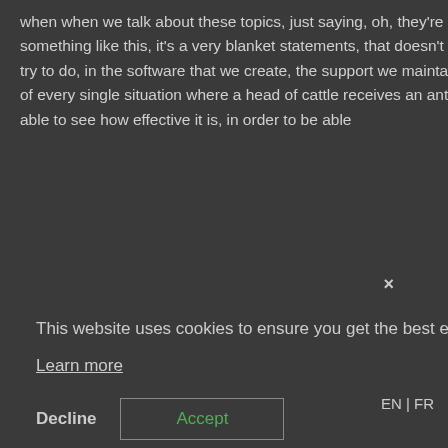when when we talk about these topics, just saying, oh, they're antibiotic free, or we're stopping using this antibiotic or something like this, it's a very blanket statements, that doesn't actually speak to the reality of the situation. So what we try to do, in the software that we create, the support we maintain, is keeping track of all the animal records keeping track of every single situation where a head of cattle receives an antibiotic in order to be able to do a few things in order to be able to see how effective it is, in order to be able
ct the em.
This website uses cookies to ensure you get the best experience on our website.
Learn more
lly ht al, if it's ou
Decline
Accept
EN | FR
outbreak. So it requires a lot of knowledge about this